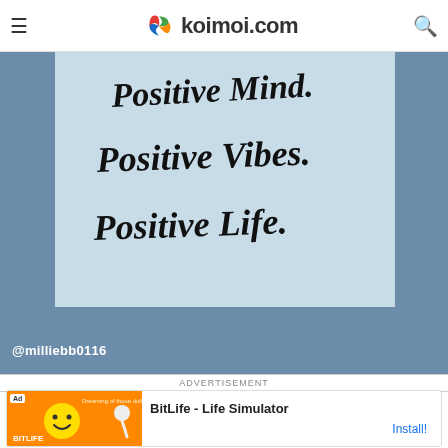koimoi.com
[Figure (photo): Motivational quote image on a blue-grey background with a white/light blue card. Text reads 'Positive Mind. Positive Vibes. Positive Life.' in handwritten script. Watermark @milliebb0116 in white text at the bottom left.]
ADVERTISEMENT
[Figure (screenshot): Ad banner for BitLife - Life Simulator app with orange/yellow graphic and smiley character on the left, text 'BitLife - Life Simulator' on the right with an Install button.]